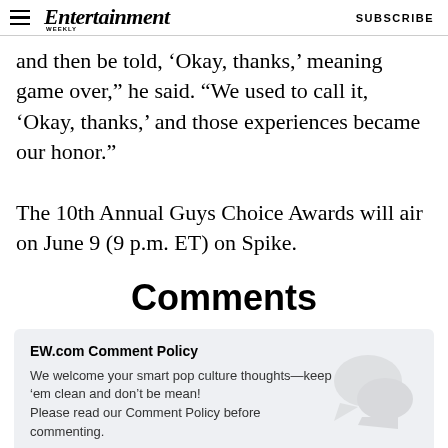Entertainment Weekly | SUBSCRIBE
and then be told, ‘Okay, thanks,’ meaning game over,” he said. “We used to call it, ‘Okay, thanks,’ and those experiences became our honor.”

The 10th Annual Guys Choice Awards will air on June 9 (9 p.m. ET) on Spike.
Comments
EW.com Comment Policy
We welcome your smart pop culture thoughts—keep ‘em clean and don’t be mean!
Please read our Comment Policy before commenting.